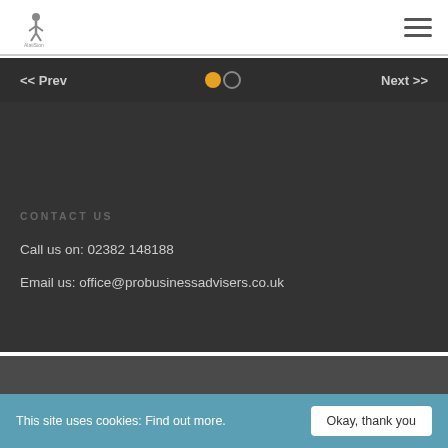[Figure (logo): Pro Business Advisers logo — small figure icon with text below]
[Figure (other): Hamburger menu icon (three horizontal lines)]
<< Prev
[Figure (other): Two dots navigation indicator: one orange (filled), one gray (outlined)]
Next >>
CONTACT US
Call us on: 02382 148188
Email us: office@probusinessadvisers.co.uk
This site uses cookies: Find out more.   Okay, thank you